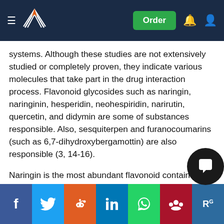Navigation bar with logo, Order button, notification and user icons
systems. Although these studies are not extensively studied or completely proven, they indicate various molecules that take part in the drug interaction process. Flavonoid glycosides such as naringin, naringinin, hesperidin, neohespiridin, narirutin, quercetin, and didymin are some of substances responsible. Also, sesquiterpen and furanocoumarins (such as 6,7-dihydroxybergamottin) are also responsible (3, 14-16).
Naringin is the most abundant flavonoid contained in the grapefruit juice. Also the flavonoids in the grapefruit exist as glycosides. After ingestion, the actions of intestinal flora convert these to sugars and aglycones. These compounds can inhibit the cytochrome P-450 enzymes. Theoretically it is believed that electron rich polyphenolic nature of these compound...
Social share bar: Facebook, Twitter, Reddit, LinkedIn, WhatsApp, Mendeley, ResearchGate